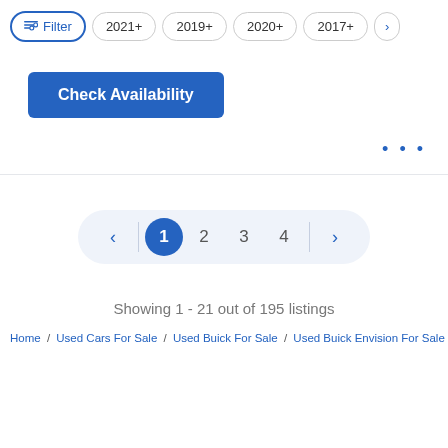Filter  2021+  2019+  2020+  2017+  >
Check Availability
• • •
< 1 2 3 4 >
Showing 1 - 21 out of 195 listings
Home / Used Cars For Sale / Used Buick For Sale / Used Buick Envision For Sale / Used Buick E